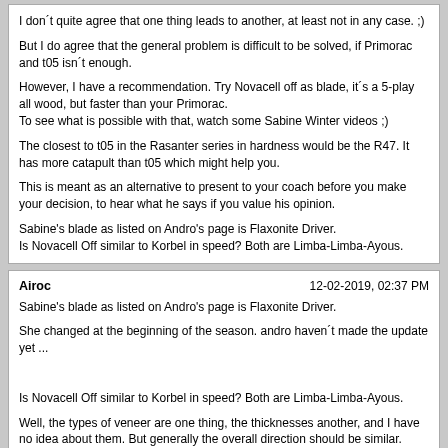I don´t quite agree that one thing leads to another, at least not in any case. ;)

But I do agree that the general problem is difficult to be solved, if Primorac and t05 isn´t enough.

However, I have a recommendation. Try Novacell off as blade, it´s a 5-play all wood, but faster than your Primorac.
To see what is possible with that, watch some Sabine Winter videos ;)

The closest to t05 in the Rasanter series in hardness would be the R47. It has more catapult than t05 which might help you.

This is meant as an alternative to present to your coach before you make your decision, to hear what he says if you value his opinion.

Sabine's blade as listed on Andro's page is Flaxonite Driver.
Is Novacell Off similar to Korbel in speed? Both are Limba-Limba-Ayous.
Airoc   12-02-2019, 02:37 PM

Sabine's blade as listed on Andro's page is Flaxonite Driver.

She changed at the beginning of the season. andro haven´t made the update yet ...


Is Novacell Off similar to Korbel in speed? Both are Limba-Limba-Ayous.

Well, the types of veneer are one thing, the thicknesses another, and I have no idea about them. But generally the overall direction should be similar.
Powered by vBulletin® Version 4.2.5 Copyright © 2022 vBulletin Solutions Inc. All rights reserved.